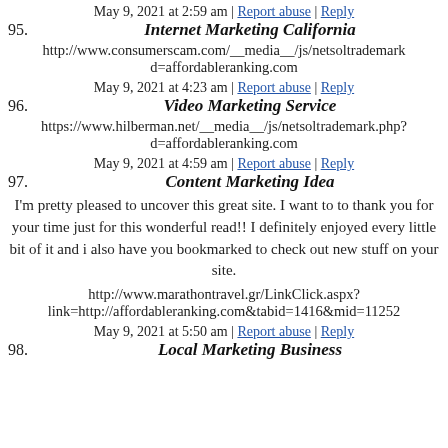May 9, 2021 at 2:59 am | Report abuse | Reply
95. Internet Marketing California
http://www.consumerscam.com/__media__/js/netsoltrademark... d=affordableranking.com
May 9, 2021 at 4:23 am | Report abuse | Reply
96. Video Marketing Service
https://www.hilberman.net/__media__/js/netsoltrademark.php?... d=affordableranking.com
May 9, 2021 at 4:59 am | Report abuse | Reply
97. Content Marketing Idea
I'm pretty pleased to uncover this great site. I want to to thank you for your time just for this wonderful read!! I definitely enjoyed every little bit of it and i also have you bookmarked to check out new stuff on your site.
http://www.marathontravel.gr/LinkClick.aspx?link=http://affordableranking.com&tabid=1416&mid=11252
May 9, 2021 at 5:50 am | Report abuse | Reply
98. Local Marketing Business